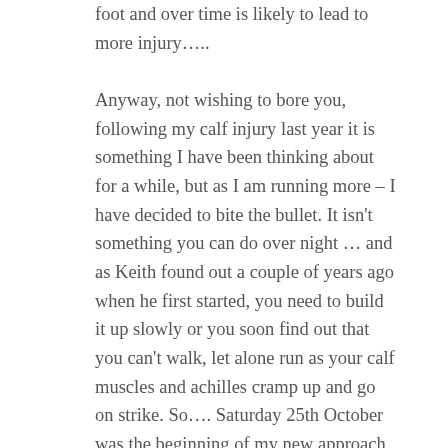foot and over time is likely to lead to more injury….. Anyway, not wishing to bore you, following my calf injury last year it is something I have been thinking about for a while, but as I am running more – I have decided to bite the bullet.  It isn't something you can do over night … and as Keith found out a couple of years ago when he first started, you need to build it up slowly or you soon find out that you can't walk, let alone run as your calf muscles and achilles cramp up and go on strike.  So…. Saturday 25th October was the beginning of my new approach to hopefully injury free, running. For my first run I built in 8 minutes of my 34 minute run on forefoot in two minute bursts……. my calves hurt a little today, but we have also been on a long walk…. roll on tomorrow I am ready for you 🙂 ….. I will let you know how I get on, but if my initial run is anything to go by, I felt so light on my feet I am